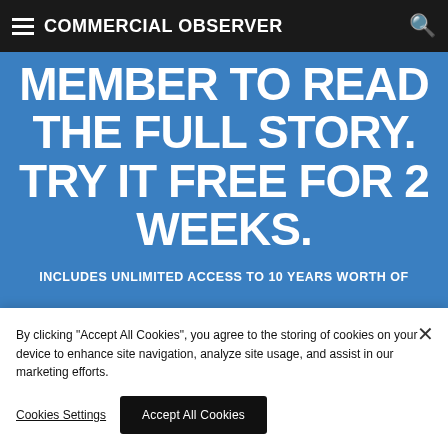COMMERCIAL OBSERVER
MEMBER TO READ THE FULL STORY. TRY IT FREE FOR 2 WEEKS.
INCLUDES UNLIMITED ACCESS TO 10 YEARS WORTH OF NEWS, DEALS AND COMPANY DATA
START FREE TRIAL
By clicking "Accept All Cookies", you agree to the storing of cookies on your device to enhance site navigation, analyze site usage, and assist in our marketing efforts.
Cookies Settings
Accept All Cookies